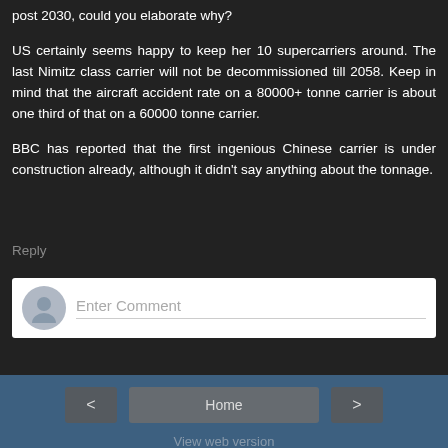post 2030, could you elaborate why?
US certainly seems happy to keep her 10 supercarriers around. The last Nimitz class carrier will not be decommissioned till 2058. Keep in mind that the aircraft accident rate on a 80000+ tonne carrier is about one third of that on a 60000 tonne carrier.
BBC has reported that the first ingenious Chinese carrier is under construction already, although it didn't say anything about the tonnage.
Reply
[Figure (other): Comment input box with avatar placeholder and 'Enter Comment' placeholder text]
Home
View web version